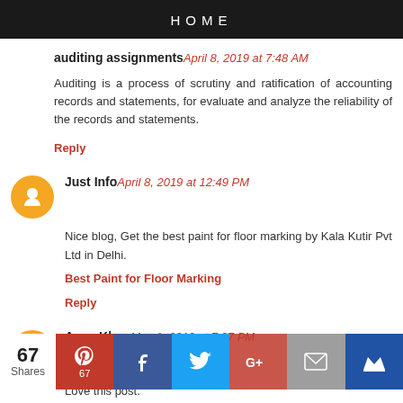HOME
auditing assignments April 8, 2019 at 7:48 AM
Auditing is a process of scrutiny and ratification of accounting records and statements, for evaluate and analyze the reliability of the records and statements.
Reply
Just Info April 8, 2019 at 12:49 PM
Nice blog, Get the best paint for floor marking by Kala Kutir Pvt Ltd in Delhi.
Best Paint for Floor Marking
Reply
Anas Khan May 1, 2019 at 7:37 PM
Love this post.
[Figure (infographic): Social share bar with 67 shares, Pinterest (67), Facebook, Twitter, Google+, Email, and Crown buttons]